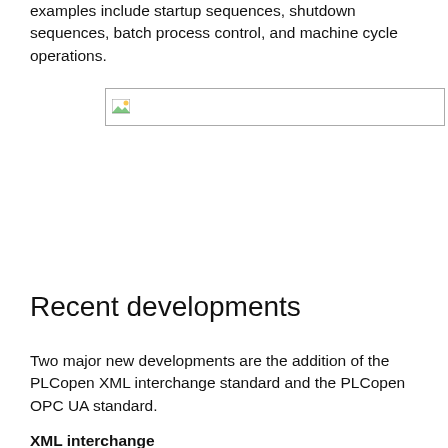examples include startup sequences, shutdown sequences, batch process control, and machine cycle operations.
[Figure (other): Placeholder image box with broken image icon]
Recent developments
Two major new developments are the addition of the PLCopen XML interchange standard and the PLCopen OPC UA standard.
XML interchange